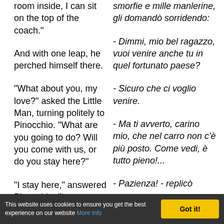room inside, I can sit on the top of the coach."
smorfie e mille manlerine, gli domandò sorridendo:
And with one leap, he perched himself there.
- Dimmi, mio bel ragazzo, vuoi venire anche tu in quel fortunato paese?
"What about you, my love?" asked the Little Man, turning politely to Pinocchio. "What are you going to do? Will you come with us, or do you stay here?"
- Sicuro che ci voglio venire.
- Ma ti avverto, carino mio, che nel carro non c'è più posto. Come vedi, è tutto pieno!...
"I stay here," answered Pinocchio. "I want to return
- Pazienza! - replicò
This website uses cookies to ensure you get the best experience on our website More info
Got it!